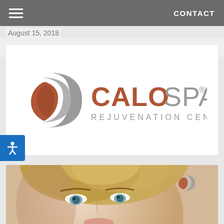August 15, 2018 | CONTACT
By: CaloSpa Provider
[Figure (logo): CaloSpa Rejuvenation Center logo with leaf/crescent icon in terracotta and grey, text CALOSPA in terracotta, REJUVENATION CENTER in grey]
[Figure (photo): Close-up photo of a young woman with blonde upswept hair and blue eyes, beauty/skincare context. CaloSpa partial logo watermark in upper right corner.]